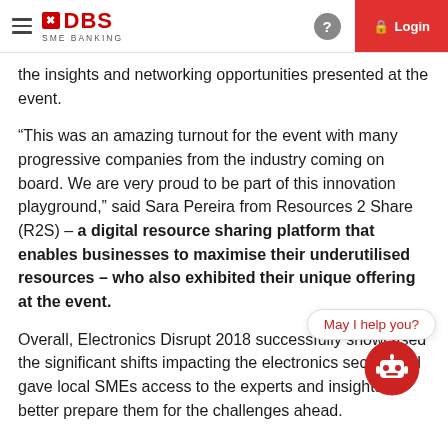DBS SME BANKING — Login
the insights and networking opportunities presented at the event.
“This was an amazing turnout for the event with many progressive companies from the industry coming on board. We are very proud to be part of this innovation playground,” said Sara Pereira from Resources 2 Share (R2S) – a digital resource sharing platform that enables businesses to maximise their underutilised resources – who also exhibited their unique offering at the event.
Overall, Electronics Disrupt 2018 successfully showcased the significant shifts impacting the electronics sector, and gave local SMEs access to the experts and insights to better prepare them for the challenges ahead.